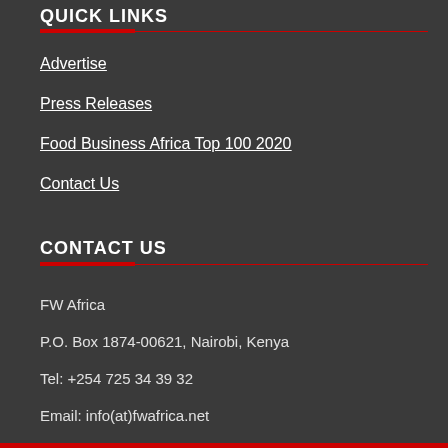QUICK LINKS
Advertise
Press Releases
Food Business Africa Top 100 2020
Contact Us
CONTACT US
FW Africa
P.O. Box 1874-00621, Nairobi, Kenya
Tel: +254 725 34 39 32
Email: info(at)fwafrica.net